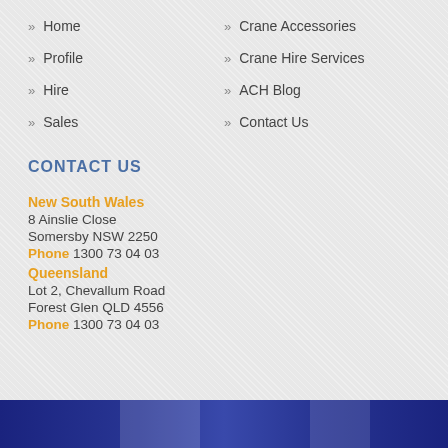» Home
» Crane Accessories
» Profile
» Crane Hire Services
» Hire
» ACH Blog
» Sales
» Contact Us
CONTACT US
New South Wales
8 Ainslie Close
Somersby NSW 2250
Phone 1300 73 04 03
Queensland
Lot 2, Chevallum Road
Forest Glen QLD 4556
Phone 1300 73 04 03